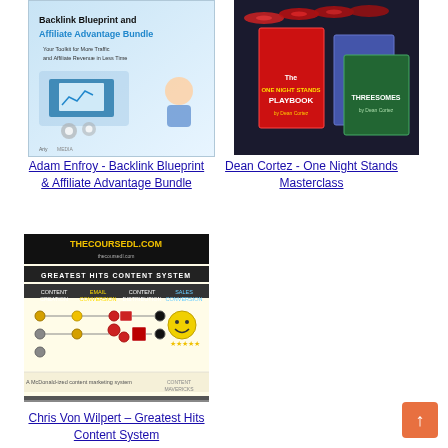[Figure (illustration): Backlink Blueprint and Affiliate Advantage Bundle product cover image with blue color scheme showing a toolkit for traffic and affiliate revenue]
Adam Enfroy - Backlink Blueprint & Affiliate Advantage Bundle
[Figure (illustration): Dean Cortez One Night Stands Masterclass product image showing multiple book covers and DVDs]
Dean Cortez - One Night Stands Masterclass
[Figure (illustration): Chris Von Wilpert Greatest Hits Content System course showing thecoursedl.com banner and content marketing system diagram]
Chris Von Wilpert – Greatest Hits Content System